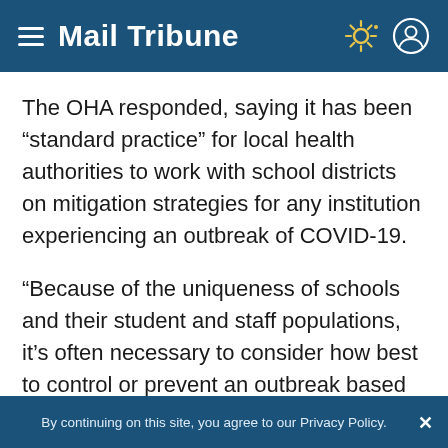Mail Tribune
The OHA responded, saying it has been “standard practice” for local health authorities to work with school districts on mitigation strategies for any institution experiencing an outbreak of COVID-19.
“Because of the uniqueness of schools and their student and staff populations, it’s often necessary to consider how best to control or prevent an outbreak based on the specific needs and make-up of a particular location.”
By continuing on this site, you agree to our Privacy Policy.